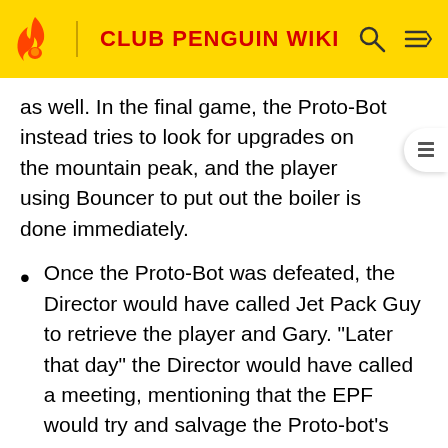CLUB PENGUIN WIKI
as well. In the final game, the Proto-Bot instead tries to look for upgrades on the mountain peak, and the player using Bouncer to put out the boiler is done immediately.
Once the Proto-Bot was defeated, the Director would have called Jet Pack Guy to retrieve the player and Gary. "Later that day" the Director would have called a meeting, mentioning that the EPF would try and salvage the Proto-bot's parts, but due to the frame being "too heavy" it would be left on the mountain. However, Jet Pack Guy thinks he might be able to turn what remains into a beacon for jet-packers. After this, the player would be given the final clearance. In the final game, various scenes of